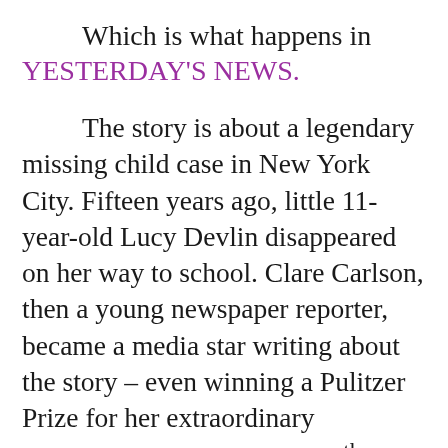Which is what happens in YESTERDAY'S NEWS.
The story is about a legendary missing child case in New York City. Fifteen years ago, little 11-year-old Lucy Devlin disappeared on her way to school. Clare Carlson, then a young newspaper reporter, became a media star writing about the story – even winning a Pulitzer Prize for her extraordinary coverage. But now, on the 15th anniversary of Lucy's disappearance, the story is back in the news with new